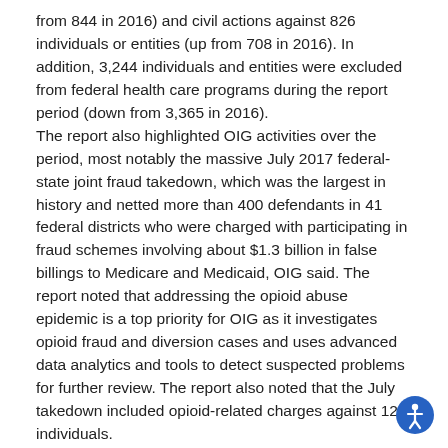from 844 in 2016) and civil actions against 826 individuals or entities (up from 708 in 2016). In addition, 3,244 individuals and entities were excluded from federal health care programs during the report period (down from 3,365 in 2016). The report also highlighted OIG activities over the period, most notably the massive July 2017 federal-state joint fraud takedown, which was the largest in history and netted more than 400 defendants in 41 federal districts who were charged with participating in fraud schemes involving about $1.3 billion in false billings to Medicare and Medicaid, OIG said. The report noted that addressing the opioid abuse epidemic is a top priority for OIG as it investigates opioid fraud and diversion cases and uses advanced data analytics and tools to detect suspected problems for further review. The report also noted that the July takedown included opioid-related charges against 120 individuals.